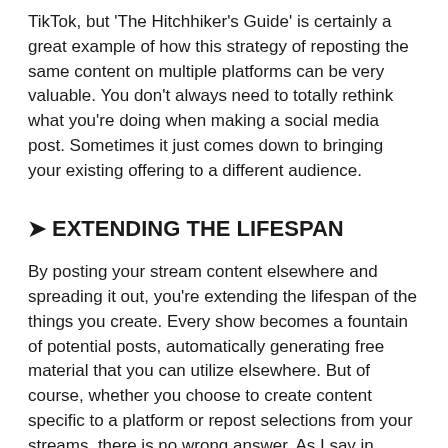TikTok, but 'The Hitchhiker's Guide' is certainly a great example of how this strategy of reposting the same content on multiple platforms can be very valuable. You don't always need to totally rethink what you're doing when making a social media post. Sometimes it just comes down to bringing your existing offering to a different audience.
➤ EXTENDING THE LIFESPAN
By posting your stream content elsewhere and spreading it out, you're extending the lifespan of the things you create. Every show becomes a fountain of potential posts, automatically generating free material that you can utilize elsewhere. But of course, whether you choose to create content specific to a platform or repost selections from your streams, there is no wrong answer. As I say in many Twitch Playbook entries, it all comes down to what you want from your overall content offering. Just like with streaming, find whatever kind of post makes you happiest to create (not just the one that gets the most likes), and once you know what that looks like, work on refining the process of creating those